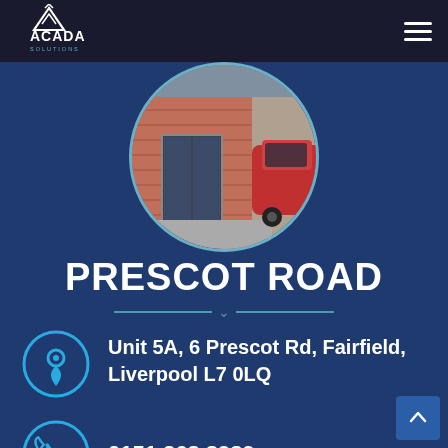[Figure (logo): ACADA Solutions logo — white triangle/mountain icon with 'ACADA' text and 'SOLUTIONS' subtitle]
[Figure (photo): Circular cropped photo showing a storefront/office entrance with brick wall, glass door, and a red car partially visible]
PRESCOT ROAD
Unit 5A, 6 Prescot Rd, Fairfield, Liverpool L7 0LQ
0151 263 3939